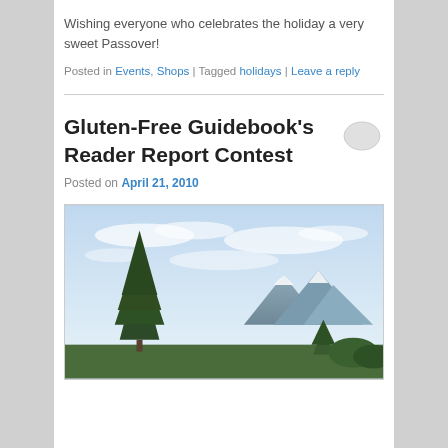Wishing everyone who celebrates the holiday a very sweet Passover!
Posted in Events, Shops | Tagged holidays | Leave a reply
Gluten-Free Guidebook’s Reader Report Contest
Posted on April 21, 2010
[Figure (photo): Outdoor landscape photo showing a tall evergreen tree in the foreground with snow-capped mountains and a bright blue sky with clouds in the background.]